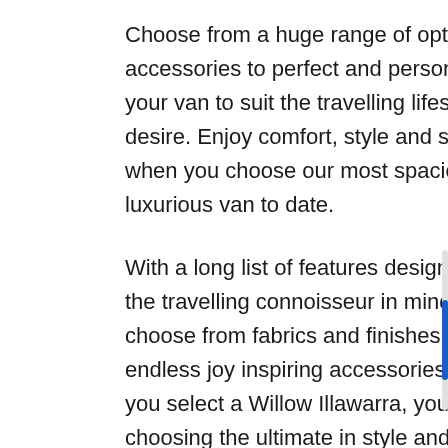Choose from a huge range of optional accessories to perfect and personalise your van to suit the travelling lifestyle you desire. Enjoy comfort, style and space when you choose our most spacious and luxurious van to date.
With a long list of features designed with the travelling connoisseur in mind, choose from fabrics and finishes, to endless joy inspiring accessories. When you select a Willow Illawarra, you're choosing the ultimate in style and comfort.